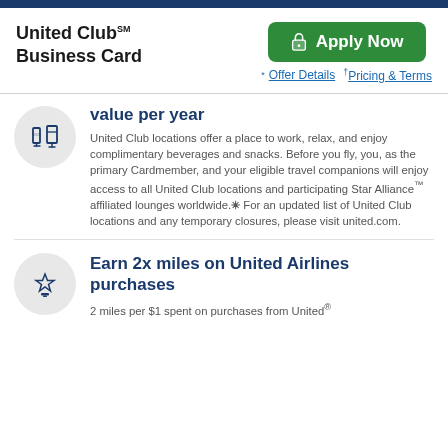United Club℠ Business Card
Apply Now
*Offer Details †Pricing & Terms
value per year
United Club locations offer a place to work, relax, and enjoy complimentary beverages and snacks. Before you fly, you, as the primary Cardmember, and your eligible travel companions will enjoy access to all United Club locations and participating Star Alliance™ affiliated lounges worldwide.✳ For an updated list of United Club locations and any temporary closures, please visit united.com.
Earn 2x miles on United Airlines purchases
2 miles per $1 spent on purchases from United®